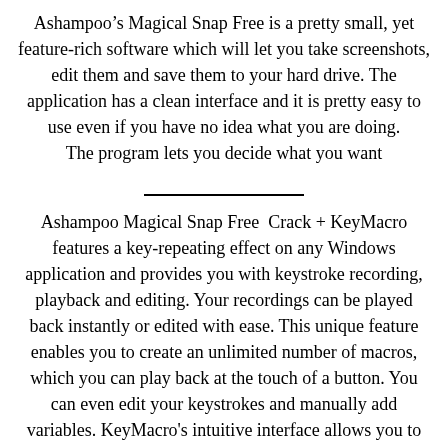Ashampoo’s Magical Snap Free is a pretty small, yet feature-rich software which will let you take screenshots, edit them and save them to your hard drive. The application has a clean interface and it is pretty easy to use even if you have no idea what you are doing.
The program lets you decide what you want
Ashampoo Magical Snap Free  Crack + KeyMacro features a key-repeating effect on any Windows application and provides you with keystroke recording, playback and editing. Your recordings can be played back instantly or edited with ease. This unique feature enables you to create an unlimited number of macros, which you can play back at the touch of a button. You can even edit your keystrokes and manually add variables. KeyMacro's intuitive interface allows you to click and drag from the left to the right and